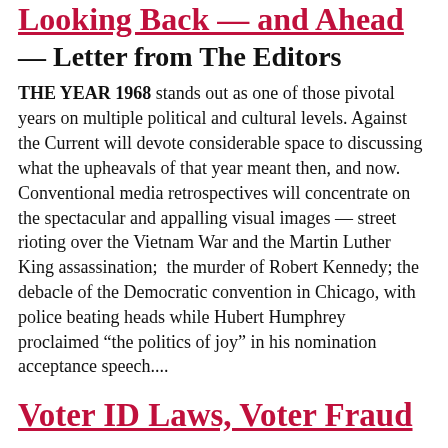Looking Back — and Ahead
— Letter from The Editors
THE YEAR 1968 stands out as one of those pivotal years on multiple political and cultural levels. Against the Current will devote considerable space to discussing what the upheavals of that year meant then, and now.  Conventional media retrospectives will concentrate on the spectacular and appalling visual images — street rioting over the Vietnam War and the Martin Luther King assassination;  the murder of Robert Kennedy; the debacle of the Democratic convention in Chicago, with police beating heads while Hubert Humphrey proclaimed “the politics of joy” in his nomination acceptance speech....
Voter ID Laws, Voter Fraud